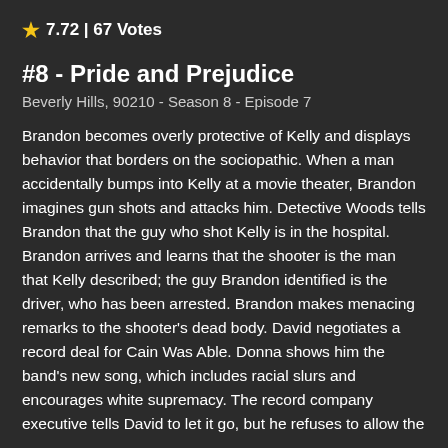★ 7.72 | 67 Votes
#8 - Pride and Prejudice
Beverly Hills, 90210 - Season 8 - Episode 7
Brandon becomes overly protective of Kelly and displays behavior that borders on the sociopathic. When a man accidentally bumps into Kelly at a movie theater, Brandon imagines gun shots and attacks him. Detective Woods tells Brandon that the guy who shot Kelly is in the hospital. Brandon arrives and learns that the shooter is the man that Kelly described; the guy Brandon identified is the driver, who has been arrested. Brandon makes menacing remarks to the shooter's dead body. David negotiates a record deal for Cain Was Able. Donna shows him the band's new song, which includes racial slurs and encourages white supremacy. The record company executive tells David to let it go, but he refuses to allow the